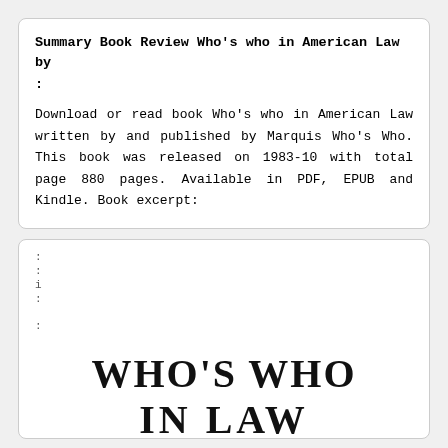Summary Book Review Who's who in American Law by :
Download or read book Who's who in American Law written by and published by Marquis Who's Who. This book was released on 1983-10 with total page 880 pages. Available in PDF, EPUB and Kindle. Book excerpt:
:
:
i
:
:
WHO'S WHO
IN LAW